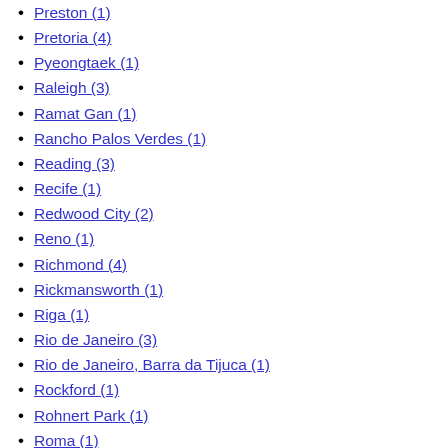Preston (1)
Pretoria (4)
Pyeongtaek (1)
Raleigh (3)
Ramat Gan (1)
Rancho Palos Verdes (1)
Reading (3)
Recife (1)
Redwood City (2)
Reno (1)
Richmond (4)
Rickmansworth (1)
Riga (1)
Rio de Janeiro (3)
Rio de Janeiro, Barra da Tijuca (1)
Rockford (1)
Rohnert Park (1)
Roma (1)
Rotterdam (13)
Rueil (1)
Sacramento (1)
Saint Quentin (1)
Saket, New Delhi (3)
Salt Lake City (3)
Salzburg (2)
San Antonio (1)